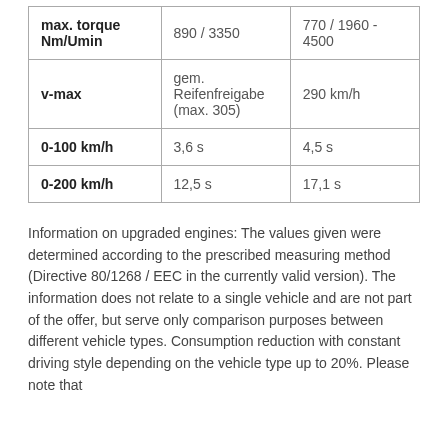| max. torque Nm/Umin | 890 / 3350 | 770 / 1960 - 4500 |
| v-max | gem. Reifenfreigabe (max. 305) | 290 km/h |
| 0-100 km/h | 3,6 s | 4,5 s |
| 0-200 km/h | 12,5 s | 17,1 s |
Information on upgraded engines: The values given were determined according to the prescribed measuring method (Directive 80/1268 / EEC in the currently valid version). The information does not relate to a single vehicle and are not part of the offer, but serve only comparison purposes between different vehicle types. Consumption reduction with constant driving style depending on the vehicle type up to 20%. Please note that